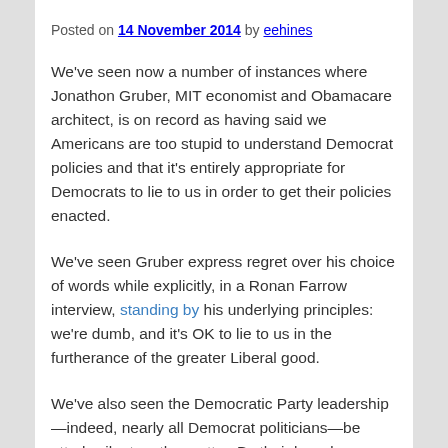Posted on 14 November 2014 by eehines
We've seen now a number of instances where Jonathon Gruber, MIT economist and Obamacare architect, is on record as having said we Americans are too stupid to understand Democrat policies and that it's entirely appropriate for Democrats to lie to us in order to get their policies enacted.
We've seen Gruber express regret over his choice of words while explicitly, in a Ronan Farrow interview, standing by his underlying principles: we're dumb, and it's OK to lie to us in the furtherance of the greater Liberal good.
We've also seen the Democratic Party leadership—indeed, nearly all Democrat politicians—be utterly silent on the matter. By their broad, steadfast silence, they demonstrate that not only do these Democrats condone Gruber's characterizations and view of lying, they consider them…